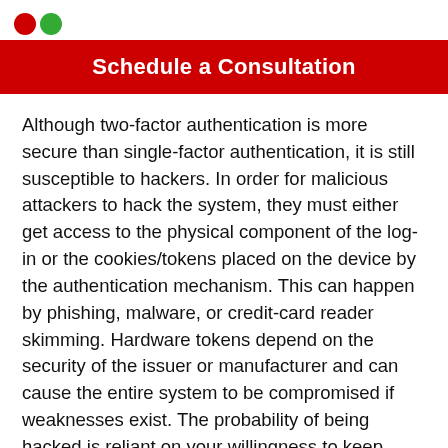[Figure (logo): Two overlapping circles logo: red and green]
Schedule a Consultation
Although two-factor authentication is more secure than single-factor authentication, it is still susceptible to hackers. In order for malicious attackers to hack the system, they must either get access to the physical component of the log-in or the cookies/tokens placed on the device by the authentication mechanism. This can happen by phishing, malware, or credit-card reader skimming. Hardware tokens depend on the security of the issuer or manufacturer and can cause the entire system to be compromised if weaknesses exist. The probability of being hacked is reliant on your willingness to keep yourself and your business protected against it.